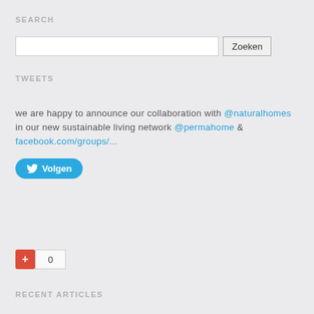SEARCH
Zoeken (search input with button)
TWEETS
we are happy to announce our collaboration with @naturalhomes in our new sustainable living network @permahome & facebook.com/groups/...
Volgen
[Figure (other): Google +1 button widget showing count of 0]
RECENT ARTICLES